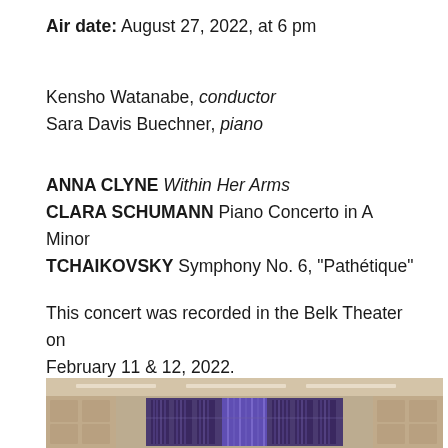Air date: August 27, 2022, at 6 pm
Kensho Watanabe, conductor
Sara Davis Buechner, piano
ANNA CLYNE Within Her Arms
CLARA SCHUMANN Piano Concerto in A Minor
TCHAIKOVSKY Symphony No. 6, "Pathétique"
This concert was recorded in the Belk Theater on February 11 & 12, 2022.
[Figure (photo): Interior of the Belk Theater showing an ornate pipe organ with blue and purple lighting, flanked by decorative wall panels in a warm beige/tan color.]